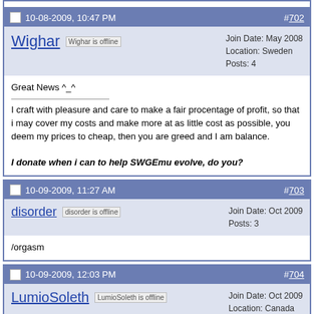(top border of previous post)
10-08-2009, 10:47 PM  #702
Wighar  Wighar is offline  Join Date: May 2008  Location: Sweden  Posts: 4
Great News ^_^

I craft with pleasure and care to make a fair procentage of profit, so that i may cover my costs and make more at as little cost as possible, you deem my prices to cheap, then you are greed and I am balance.

I donate when i can to help SWGEmu evolve, do you?
10-09-2009, 11:27 AM  #703
disorder  disorder is offline  Join Date: Oct 2009  Posts: 3
/orgasm
10-09-2009, 12:03 PM  #704
LumioSoleth  LumioSoleth is offline  Join Date: Oct 2009  Location: Canada  Posts: 33
You guys are really awsome, I remember getting in on